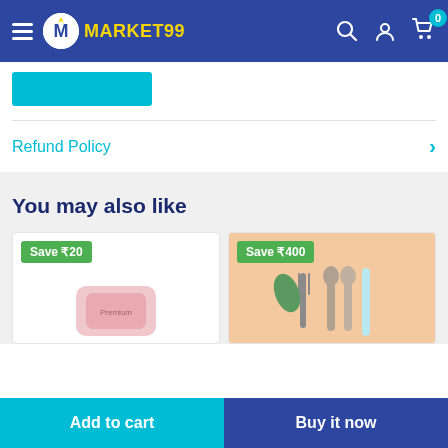Market99 — navigation header with hamburger menu, logo, search, account, and cart (0 items)
Refund Policy
You may also like
[Figure (photo): Product card showing a pink item (soap/powder box) with Save ₹20 badge]
[Figure (photo): Product card showing cutlery (fork, spoons, straw) on peach background with Save ₹400 badge]
Add to cart
Buy it now